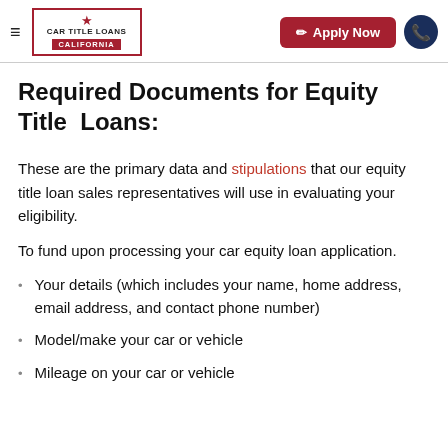Car Title Loans California — Apply Now
Required Documents for Equity Title Loans:
These are the primary data and stipulations that our equity title loan sales representatives will use in evaluating your eligibility.
To fund upon processing your car equity loan application.
Your details (which includes your name, home address, email address, and contact phone number)
Model/make your car or vehicle
Mileage on your car or vehicle